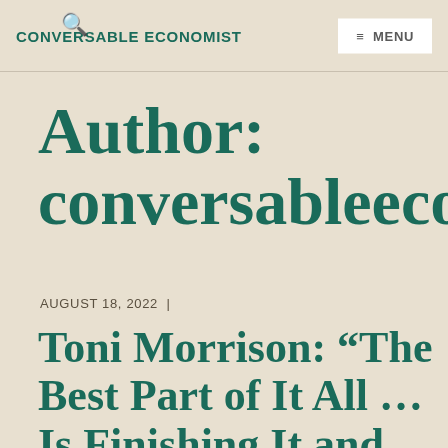CONVERSABLE ECONOMIST | ≡ MENU
Author: conversableeconomi…
AUGUST 18, 2022 |
Toni Morrison: “The Best Part of It All … Is Finishing It and Doing It